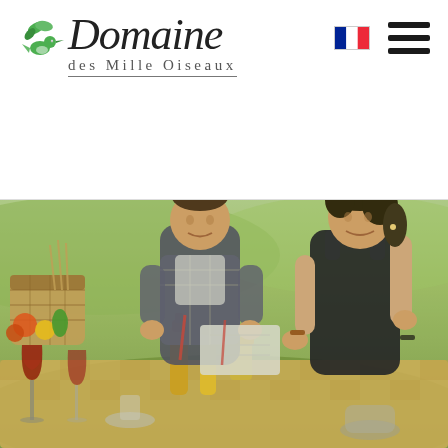[Figure (logo): Domaine des Mille Oiseaux logo with stylized hummingbird and green leaves, script font for Domaine, smaller spaced text for des Mille Oiseaux with underline]
[Figure (illustration): French flag icon (tricolore: blue, white, red)]
[Figure (illustration): Hamburger menu icon (three horizontal dark lines)]
[Figure (photo): Outdoor picnic scene with two young adults (man in plaid shirt, woman in dark top) serving food at a picnic table with wicker baskets, vegetables, wine glasses, and bottles in a green countryside setting]